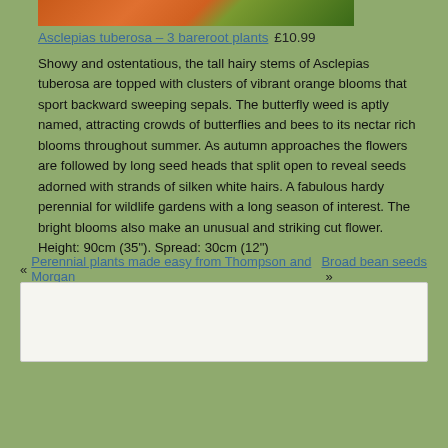[Figure (photo): Partial view of Asclepias tuberosa plant with orange blooms and green leaves at top of page]
Asclepias tuberosa – 3 bareroot plants £10.99
Showy and ostentatious, the tall hairy stems of Asclepias tuberosa are topped with clusters of vibrant orange blooms that sport backward sweeping sepals. The butterfly weed is aptly named, attracting crowds of butterflies and bees to its nectar rich blooms throughout summer. As autumn approaches the flowers are followed by long seed heads that split open to reveal seeds adorned with strands of silken white hairs. A fabulous hardy perennial for wildlife gardens with a long season of interest. The bright blooms also make an unusual and striking cut flower. Height: 90cm (35"). Spread: 30cm (12")
« Perennial plants made easy from Thompson and Morgan   Broad bean seeds »